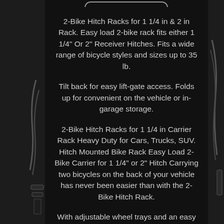2-Bike Hitch Racks for 1 1/4 in & 2 in Rack. Easy load 2-bike rack fits either 1 1/4" Or 2" Receiver Hitches. Fits a wide range of bicycle styles and sizes up to 35 lb.
Tilt back for easy lift-gate access. Folds up for convenient on the vehicle or in-garage storage.
2-Bike Hitch Racks for 1 1/4 in Carrier Rack Heavy Duty for Cars, Trucks, SUV. Hitch Mounted Bike Rack Easy Load 2-Bike Carrier for 1 1/4" or 2" Hitch Carrying two bicycles on the back of your vehicle has never been easier than with the 2-Bike Hitch Rack.
With adjustable wheel trays and an easy to use frame attachment system, the Rack can accommodate a wide range of bicycle styles and sizes. The Rack eliminates the need for an adaptor bar to carry bicycles without a standard top tube. Feature Details Padded Upper Frame Connector The Rack uses an adjustable, padded upper frame connector which fully secures and protects your bicycle. The strap connection works